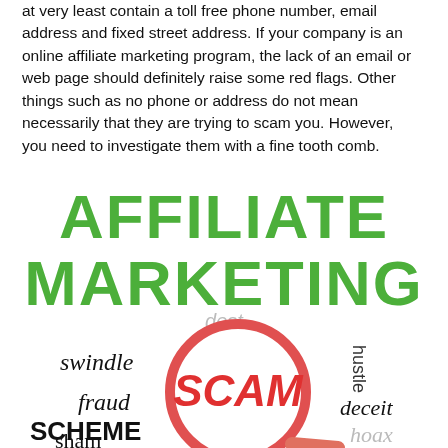at very least contain a toll free phone number, email address and fixed street address. If your company is an online affiliate marketing program, the lack of an email or web page should definitely raise some red flags. Other things such as no phone or address do not mean necessarily that they are trying to scam you. However, you need to investigate them with a fine tooth comb.
[Figure (illustration): Large bold green text reading AFFILIATE MARKETING overlaid above an illustration of a magnifying glass showing the word SCAM in red, surrounded by scam-related words: swindle, fraud, SCHEME, sham, hustle, deceit, hoax]